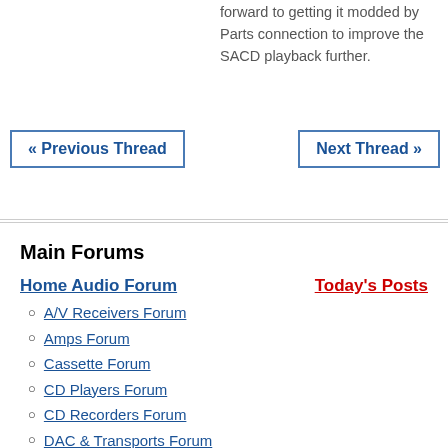forward to getting it modded by Parts connection to improve the SACD playback further.
« Previous Thread
Next Thread »
Main Forums
Home Audio Forum
Today's Posts
A/V Receivers Forum
Amps Forum
Cassette Forum
CD Players Forum
CD Recorders Forum
DAC & Transports Forum
DVD-Audio & SACD Forum
Equalizers Forum
Integrated Amps Forum